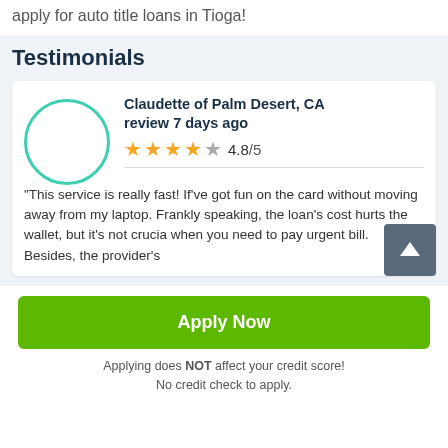apply for auto title loans in Tioga!
Testimonials
Claudette of Palm Desert, CA review 7 days ago
4.8/5
"This service is really fast! If've got fun on the card without moving away from my laptop. Frankly speaking, the loan's cost hurts the wallet, but it's not crucia when you need to pay urgent bill. Besides, the provider's
Apply Now
Applying does NOT affect your credit score!
No credit check to apply.